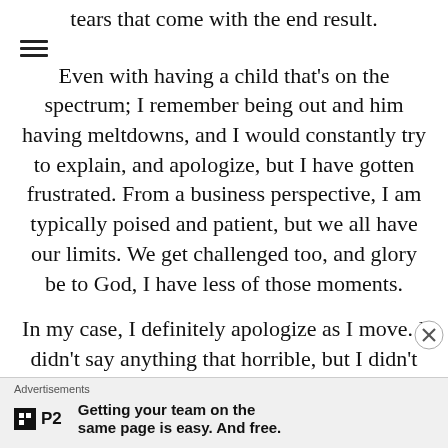tears that come with the end result.
Even with having a child that’s on the spectrum; I remember being out and him having meltdowns, and I would constantly try to explain, and apologize, but I have gotten frustrated. From a business perspective, I am typically poised and patient, but we all have our limits. We get challenged too, and glory be to God, I have less of those moments.
In my case, I definitely apologize as I move. I didn’t say anything that horrible, but I didn’t like what I said, even just the other day, being frustrated. I had to pickup the phone and say, hey, what I said was right, but the way I handled it was wrong, and I want you to know that I apologize. It takes a lot:
Advertisements
[Figure (logo): P2 logo with tagline: Getting your team on the same page is easy. And free.]